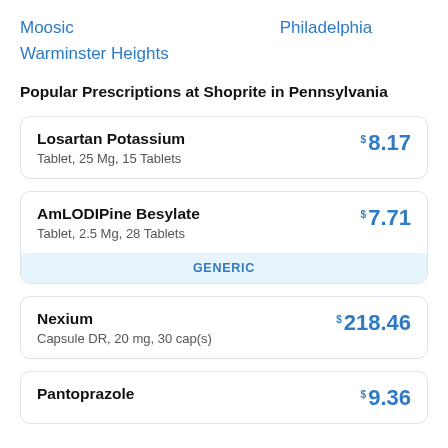Moosic
Philadelphia
Warminster Heights
Popular Prescriptions at Shoprite in Pennsylvania
| Drug | Price |
| --- | --- |
| Losartan Potassium
Tablet, 25 Mg, 15 Tablets | $8.17 |
| AmLODIPine Besylate
Tablet, 2.5 Mg, 28 Tablets
GENERIC | $7.71 |
| Nexium
Capsule DR, 20 mg, 30 cap(s) | $218.46 |
| Pantoprazole | $9.36 |